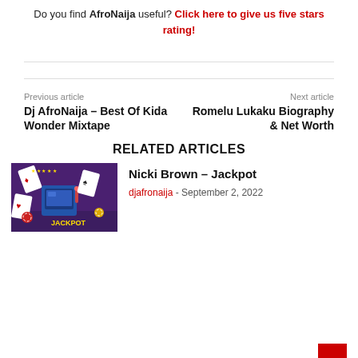Do you find AfroNaija useful? Click here to give us five stars rating!
Previous article
Dj AfroNaija – Best Of Kida Wonder Mixtape
Next article
Romelu Lukaku Biography & Net Worth
RELATED ARTICLES
[Figure (photo): Jackpot themed image with playing cards, slot machine, and casino chips on purple background]
Nicki Brown – Jackpot
djafronaija - September 2, 2022